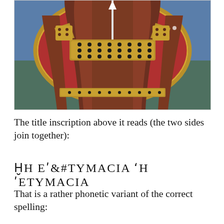[Figure (illustration): Medieval illuminated manuscript image showing a robed figure (lower torso and draped garments) centered within a large oval or mandorla shape with a gold border. The background inside the oval is deep red, and the outer background is blue-green. The robes are reddish-brown with elaborately decorated jeweled borders in gold. The figure holds or displays a jeweled/decorated panel across the midsection.]
The title inscription above it reads (the two sides join together):
ἩΗ ΕΤΥΜΑCΙΑ
That is a rather phonetic variant of the correct spelling: